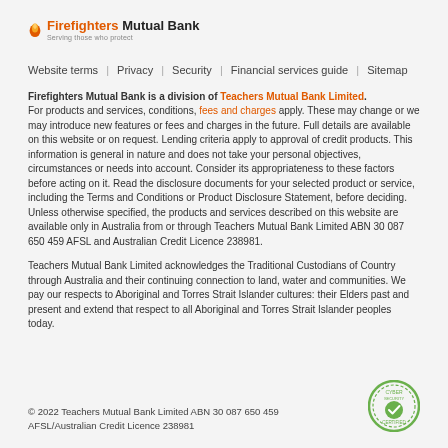Firefighters Mutual Bank — Serving those who protect
Website terms | Privacy | Security | Financial services guide | Sitemap
Firefighters Mutual Bank is a division of Teachers Mutual Bank Limited. For products and services, conditions, fees and charges apply. These may change or we may introduce new features or fees and charges in the future. Full details are available on this website or on request. Lending criteria apply to approval of credit products. This information is general in nature and does not take your personal objectives, circumstances or needs into account. Consider its appropriateness to these factors before acting on it. Read the disclosure documents for your selected product or service, including the Terms and Conditions or Product Disclosure Statement, before deciding. Unless otherwise specified, the products and services described on this website are available only in Australia from or through Teachers Mutual Bank Limited ABN 30 087 650 459 AFSL and Australian Credit Licence 238981.
Teachers Mutual Bank Limited acknowledges the Traditional Custodians of Country through Australia and their continuing connection to land, water and communities. We pay our respects to Aboriginal and Torres Strait Islander cultures: their Elders past and present and extend that respect to all Aboriginal and Torres Strait Islander peoples today.
© 2022 Teachers Mutual Bank Limited ABN 30 087 650 459 AFSL/Australian Credit Licence 238981